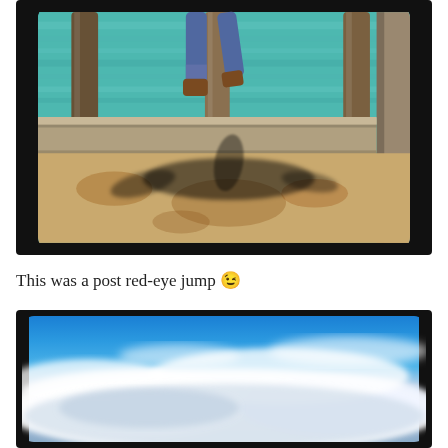[Figure (photo): Person jumping on a waterfront dock/pier. The legs and feet are visible at the top of the frame in jeans and brown boots. A dynamic shadow is cast on the rusty/golden-colored dock surface below. Wooden pilings and turquoise-green water visible in the background. Photo has a black rounded-corner frame characteristic of Instagram-style photos.]
This was a post red-eye jump 😉
[Figure (photo): Landscape photo of a blue sky with dramatic white clouds. The upper portion shows bright blue sky, while the lower portion is dominated by large white and gray clouds. Photo has the same black rounded-corner Instagram-style frame.]